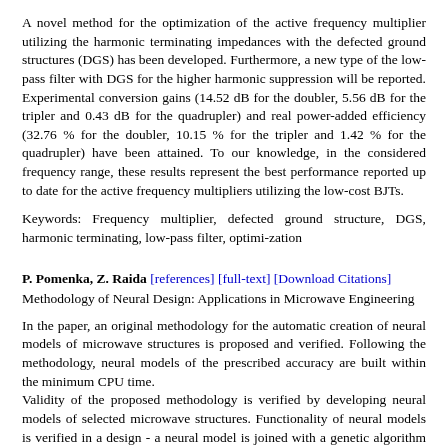A novel method for the optimization of the active frequency multiplier utilizing the harmonic terminating impedances with the defected ground structures (DGS) has been developed. Furthermore, a new type of the low-pass filter with DGS for the higher harmonic suppression will be reported. Experimental conversion gains (14.52 dB for the doubler, 5.56 dB for the tripler and 0.43 dB for the quadrupler) and real power-added efficiency (32.76 % for the doubler, 10.15 % for the tripler and 1.42 % for the quadrupler) have been attained. To our knowledge, in the considered frequency range, these results represent the best performance reported up to date for the active frequency multipliers utilizing the low-cost BJTs.
Keywords: Frequency multiplier, defected ground structure, DGS, harmonic terminating, low-pass filter, optimi-zation
P. Pomenka, Z. Raida [references] [full-text] [Download Citations] Methodology of Neural Design: Applications in Microwave Engineering
In the paper, an original methodology for the automatic creation of neural models of microwave structures is proposed and verified. Following the methodology, neural models of the prescribed accuracy are built within the minimum CPU time. Validity of the proposed methodology is verified by developing neural models of selected microwave structures. Functionality of neural models is verified in a design - a neural model is joined with a genetic algorithm to find a global minimum of a formulated objective function. The objective function is minimized using different versions of genetic